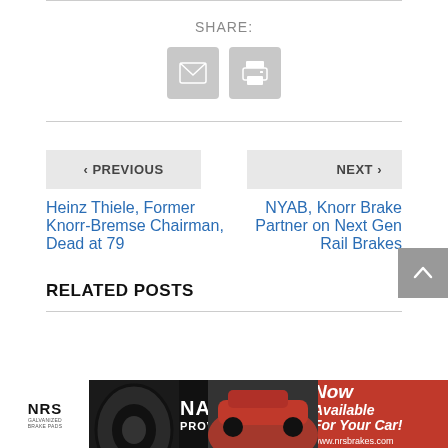SHARE:
[Figure (infographic): Share icons: email envelope and print printer, grey rounded square buttons]
< PREVIOUS
NEXT >
Heinz Thiele, Former Knorr-Bremse Chairman, Dead at 79
NYAB, Knorr Brake Partner on Next Gen Rail Brakes
RELATED POSTS
[Figure (infographic): NRS NASCAR Proven Brakes advertisement banner with red car image and 'Now Available For Your Car!' text and www.nrsbrakes.com URL]